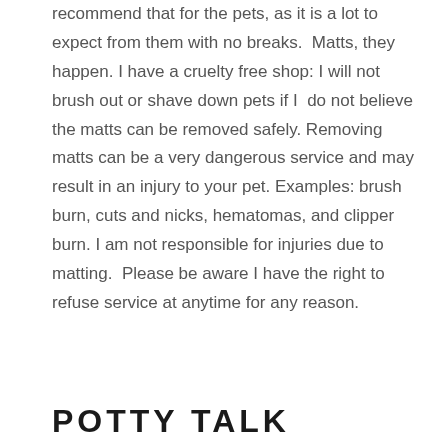recommend that for the pets, as it is a lot to expect from them with no breaks.  Matts, they happen. I have a cruelty free shop: I will not brush out or shave down pets if I  do not believe the matts can be removed safely. Removing matts can be a very dangerous service and may result in an injury to your pet. Examples: brush burn, cuts and nicks, hematomas, and clipper burn. I am not responsible for injuries due to matting.  Please be aware I have the right to refuse service at anytime for any reason.
POTTY TALK